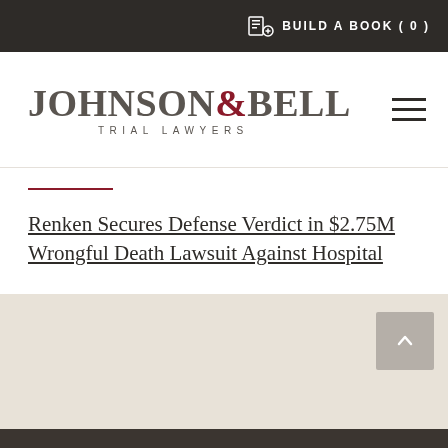BUILD A BOOK ( 0 )
[Figure (logo): Johnson & Bell Trial Lawyers logo with serif text, ampersand in red/dark red]
Renken Secures Defense Verdict in $2.75M Wrongful Death Lawsuit Against Hospital
ADD PAGE TO MY BOOK   PRINT PDF